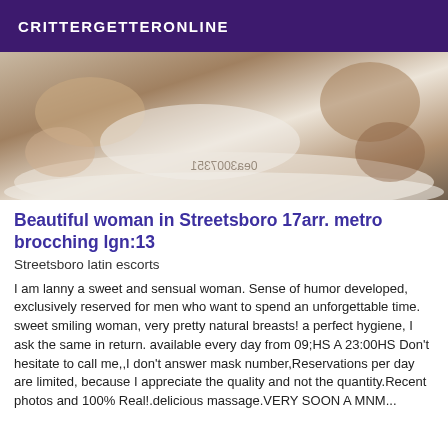CRITTERGETTERONLINE
[Figure (photo): Photo of a woman on a bed with white sheets, watermark text visible mirrored: 0ea3007351]
Beautiful woman in Streetsboro 17arr. metro brocching lgn:13
Streetsboro latin escorts
I am lanny a sweet and sensual woman. Sense of humor developed, exclusively reserved for men who want to spend an unforgettable time. sweet smiling woman, very pretty natural breasts! a perfect hygiene, I ask the same in return. available every day from 09;HS A 23:00HS Don't hesitate to call me,,I don't answer mask number,Reservations per day are limited, because I appreciate the quality and not the quantity.Recent photos and 100% Real!.delicious massage.VERY SOON A MNM...